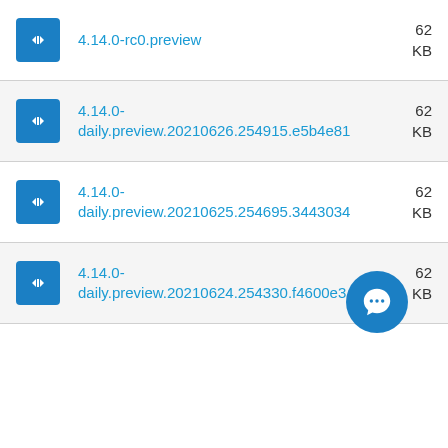4.14.0-rc0.preview
4.14.0-daily.preview.20210626.254915.e5b4e81
4.14.0-daily.preview.20210625.254695.3443034
4.14.0-daily.preview.20210624.254330.f4600e3